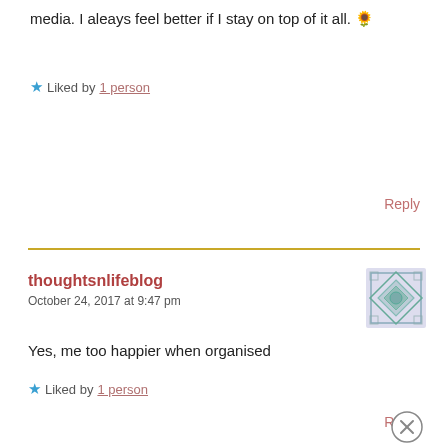media. I aleays feel better if I stay on top of it all. 🌻
★ Liked by 1 person
Reply
thoughtsnlifeblog
October 24, 2017 at 9:47 pm
[Figure (illustration): Geometric avatar icon with teal/grey diamond pattern]
Yes, me too happier when organised
★ Liked by 1 person
Reply
[Figure (other): Close/X circular button]
Advertisements
[Figure (other): Pocket Casts advertisement banner: An app by listeners, for listeners.]